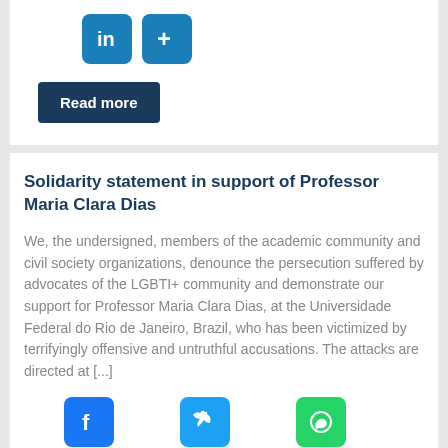[Figure (infographic): Social share icons: LinkedIn (blue) and Plus/Add (blue) on white card background, top section]
Read more
Solidarity statement in support of Professor Maria Clara Dias
We, the undersigned, members of the academic community and civil society organizations, denounce the persecution suffered by advocates of the LGBTI+ community and demonstrate our support for Professor Maria Clara Dias, at the Universidade Federal do Rio de Janeiro, Brazil, who has been victimized by terrifyingly offensive and untruthful accusations. The attacks are directed at [...]
[Figure (infographic): Social share icons: Facebook (blue), Twitter (blue), WhatsApp (green), LinkedIn (teal), Plus/Add (blue)]